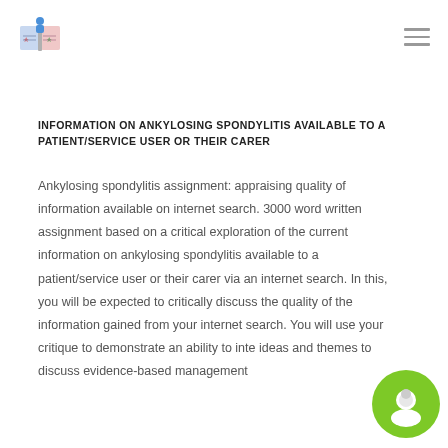Custom Project Writers [logo]
INFORMATION ON ANKYLOSING SPONDYLITIS AVAILABLE TO A PATIENT/SERVICE USER OR THEIR CARER
Ankylosing spondylitis assignment: appraising quality of information available on internet search. 3000 word written assignment based on a critical exploration of the current information on ankylosing spondylitis available to a patient/service user or their carer via an internet search. In this, you will be expected to critically discuss the quality of the information gained from your internet search. You will use your critique to demonstrate an ability to inte ideas and themes to discuss evidence-based management